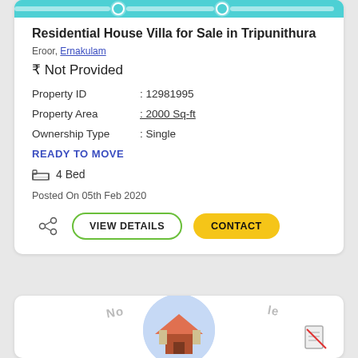[Figure (screenshot): Teal/cyan banner strip at top of property card]
Residential House Villa for Sale in Tripunithura
Eroor, Ernakulam
₹ Not Provided
Property ID : 12981995
Property Area : 2000 Sq-ft
Ownership Type : Single
READY TO MOVE
4 Bed
Posted On 05th Feb 2020
VIEW DETAILS  CONTACT
[Figure (illustration): Second property card partially visible with circular house illustration and NO SALE watermark text]